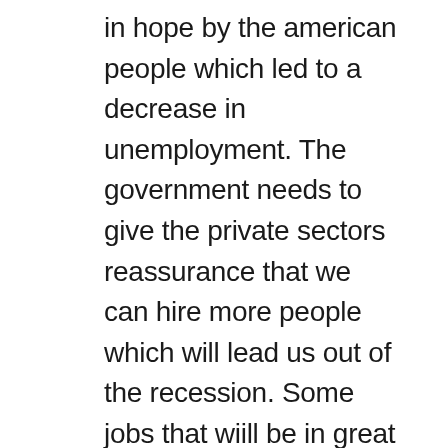in hope by the american people which led to a decrease in unemployment. The government needs to give the private sectors reassurance that we can hire more people which will lead us out of the recession. Some jobs that wiill be in great demand are the fields of science and math educators. Obama said in his state of the union speech that he wants better math and science teachers. I believe in order to increase the supply of these jobs the government will have to give certain benefits